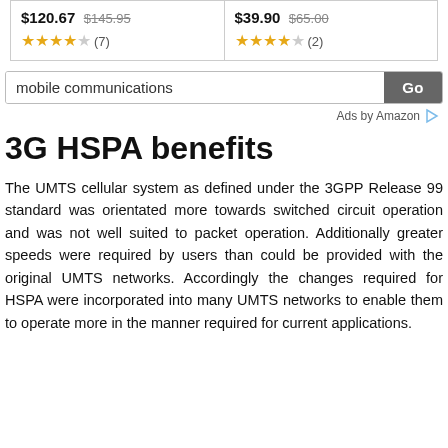[Figure (screenshot): Two product cards showing prices and star ratings. Left card: $120.67 (was $145.95), 3.5 stars (7 reviews). Right card: $39.90 (was $65.00), 4 stars (2 reviews).]
[Figure (screenshot): Amazon search bar with text 'mobile communications' and a Go button, followed by 'Ads by Amazon' label with arrow icon.]
3G HSPA benefits
The UMTS cellular system as defined under the 3GPP Release 99 standard was orientated more towards switched circuit operation and was not well suited to packet operation. Additionally greater speeds were required by users than could be provided with the original UMTS networks. Accordingly the changes required for HSPA were incorporated into many UMTS networks to enable them to operate more in the manner required for current applications.